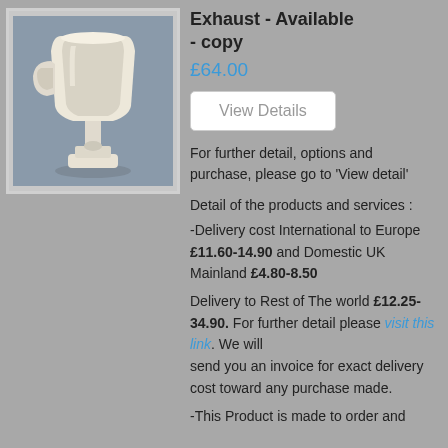[Figure (photo): A white plastic exhaust/pipe fitting part on a grey background]
Exhaust - Available - copy
£64.00
View Details
For further detail, options and purchase, please go to 'View detail'
Detail of the products and services :
-Delivery cost International to Europe £11.60-14.90 and Domestic UK Mainland £4.80-8.50
Delivery to Rest of The world £12.25-34.90. For further detail please visit this link. We will send you an invoice for exact delivery cost toward any purchase made.
-This Product is made to order and